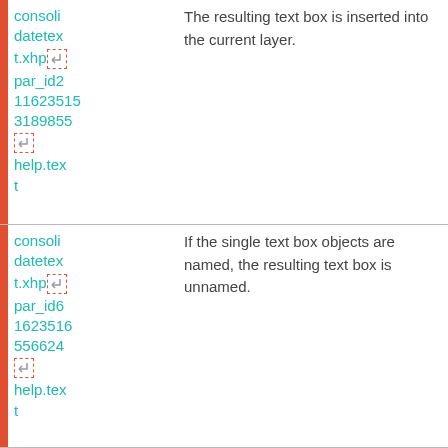| Left column (identifiers) | Right column (description) |
| --- | --- |
| consoli
datetex
t.xhp[return icon]
par_id2
11623513189855
[return icon]
help.tex
t | The resulting text box is inserted into the current layer. |
| consoli
datetex
t.xhp[return icon]
par_id6
1623516
556624
[return icon]
help.tex
t | If the single text box objects are named, the resulting text box is unnamed. |